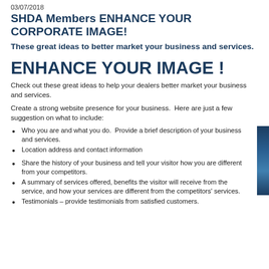03/07/2018
SHDA Members ENHANCE YOUR CORPORATE IMAGE!
These great ideas to better market your business and services.
ENHANCE YOUR IMAGE !
Check out these great ideas to help your dealers better market your business and services.
Create a strong website presence for your business.  Here are just a few suggestion on what to include:
Who you are and what you do.  Provide a brief description of your business and services.
Location address and contact information
Share the history of your business and tell your visitor how you are different from your competitors.
A summary of services offered, benefits the visitor will receive from the service, and how your services are different from the competitors' services.
Testimonials – provide testimonials from satisfied customers.